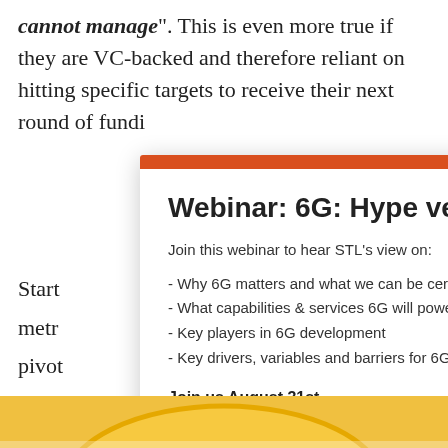cannot manage". This is even more true if they are VC-backed and therefore reliant on hitting specific targets to receive their next round of funding.
Start... metrics... pivot... objectives... "Build... innovation... how... responsibilities...
Webinar: 6G: Hype versus reality
Join this webinar to hear STL's view on:
- Why 6G matters and what we can be certain about now
- What capabilities & services 6G will power
- Key players in 6G development
- Key drivers, variables and barriers for 6G
Join us August 31st
Register for the webinar here
[Figure (illustration): Partial gold/yellow circular or arc shape at bottom of page]